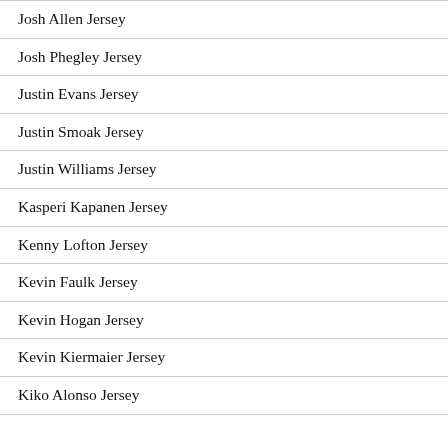Josh Allen Jersey
Josh Phegley Jersey
Justin Evans Jersey
Justin Smoak Jersey
Justin Williams Jersey
Kasperi Kapanen Jersey
Kenny Lofton Jersey
Kevin Faulk Jersey
Kevin Hogan Jersey
Kevin Kiermaier Jersey
Kiko Alonso Jersey